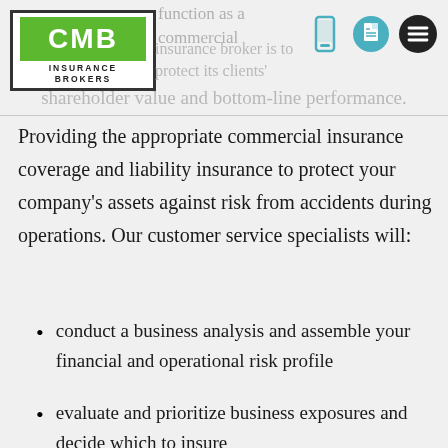CMB Insurance Brokers
function as a commercial insurance broker is to protect its clients' shareholder value and bottom-line performance.
Providing the appropriate commercial insurance coverage and liability insurance to protect your company's assets against risk from accidents during operations. Our customer service specialists will:
conduct a business analysis and assemble your financial and operational risk profile
evaluate and prioritize business exposures and decide which to insure